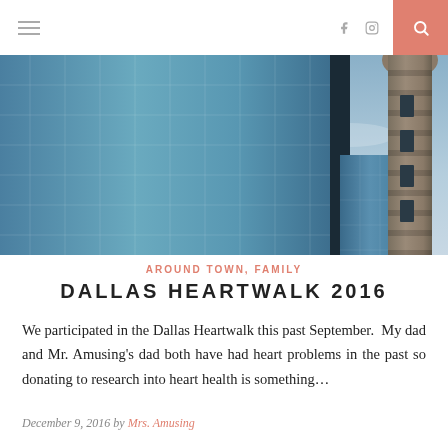Navigation bar with hamburger menu, social icons (f, camera), and search button
[Figure (photo): Upward-looking photo of Dallas skyline featuring glass skyscrapers and a distinctive concrete tower structure against a blue sky]
AROUND TOWN, FAMILY
DALLAS HEARTWALK 2016
We participated in the Dallas Heartwalk this past September.  My dad and Mr. Amusing's dad both have had heart problems in the past so donating to research into heart health is something…
December 9, 2016 by Mrs. Amusing